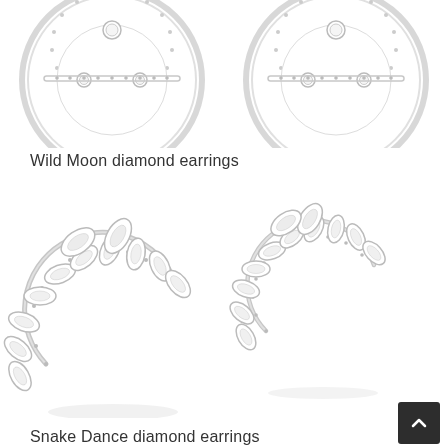[Figure (photo): Two circular diamond earrings (Wild Moon style) shown from above, partially cropped at top of page. White gold with pavé diamond border and bezel-set diamond accents.]
Wild Moon diamond earrings
[Figure (photo): Two circular diamond earrings (Snake Dance / Wild Moon style) with marquise and pear-shaped diamond petals arranged around an open hoop, white gold setting. Left earring slightly larger view, right earring smaller view. Shadows below each earring.]
Snake Dance diamond earrings